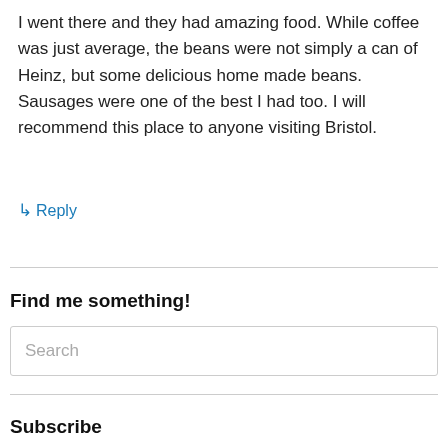I went there and they had amazing food. While coffee was just average, the beans were not simply a can of Heinz, but some delicious home made beans. Sausages were one of the best I had too. I will recommend this place to anyone visiting Bristol.
↳ Reply
Find me something!
Search
Subscribe